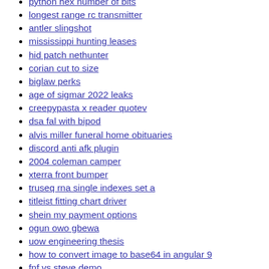python hex number of bits
longest range rc transmitter
antler slingshot
mississippi hunting leases
hid patch nethunter
corian cut to size
biglaw perks
age of sigmar 2022 leaks
creepypasta x reader quotev
dsa fal with bipod
alvis miller funeral home obituaries
discord anti afk plugin
2004 coleman camper
xterra front bumper
truseq rna single indexes set a
titleist fitting chart driver
shein my payment options
ogun owo gbewa
uow engineering thesis
how to convert image to base64 in angular 9
fnf vs steve demo
astropy fits to png
cradlewise smart crib for sale
hoor in jannah
196 clone engine